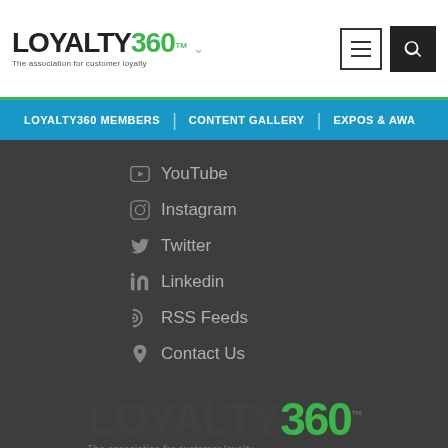[Figure (logo): Loyalty360 logo with tagline 'The association for customer loyalty' in the header navigation bar]
LOYALTY360 MEMBERS | CONTENT GALLERY | EXPOS & AWA...
YouTube
Instagram
Twitter
Linkedin
RSS Feeds
Contact Us
[Figure (logo): Loyalty360 large footer logo with tagline 'The association for customer loyalty']
© Copyright 2022 Loyalty360. All Rights Reserved. Privacy Policy | Terms of Use | Member Terms